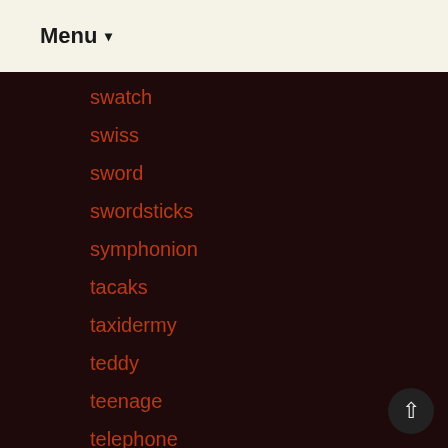Menu ▾
swatch
swiss
sword
swordsticks
symphonion
tacaks
taxidermy
teddy
teenage
telephone
tell
terrific
terry